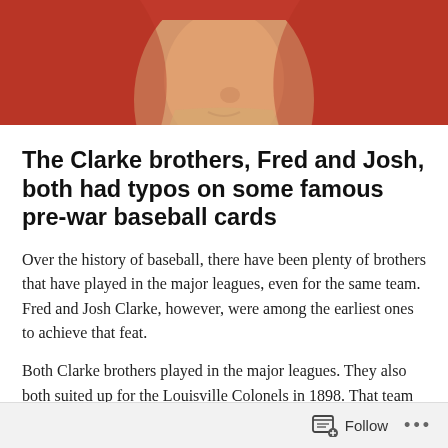[Figure (photo): Close-up photo of a person's face against a red background, cropped to show only the lower portion of the face and chin area. Appears to be an old baseball card image.]
The Clarke brothers, Fred and Josh, both had typos on some famous pre-war baseball cards
Over the history of baseball, there have been plenty of brothers that have played in the major leagues, even for the same team. Fred and Josh Clarke, however, were among the earliest ones to achieve that feat.
Both Clarke brothers played in the major leagues. They also both suited up for the Louisville Colonels in 1898. That team was managed by player/manager Fred and it also featured some guy named Honus Wagner. Wagner,